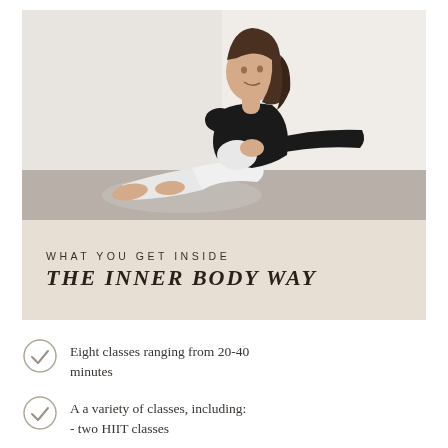[Figure (photo): A young woman with long brown hair sitting on a floor, wearing a black long-sleeve crop top and white leggings, posed against a light background.]
WHAT YOU GET INSIDE
THE INNER BODY WAY
Eight classes ranging from 20-40 minutes
A a variety of classes, including:
- two HIIT classes